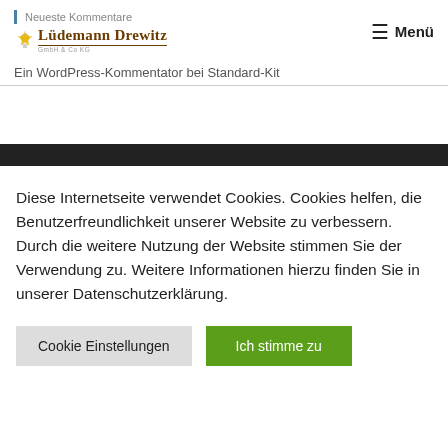Neueste Kommentare | Lüdemann Drewitz GmbH & Co KG | Menü
Ein WordPress-Kommentator bei Standard-Kit
Diese Internetseite verwendet Cookies. Cookies helfen, die Benutzerfreundlichkeit unserer Website zu verbessern. Durch die weitere Nutzung der Website stimmen Sie der Verwendung zu. Weitere Informationen hierzu finden Sie in unserer Datenschutzerklärung.
Cookie Einstellungen | Ich stimme zu